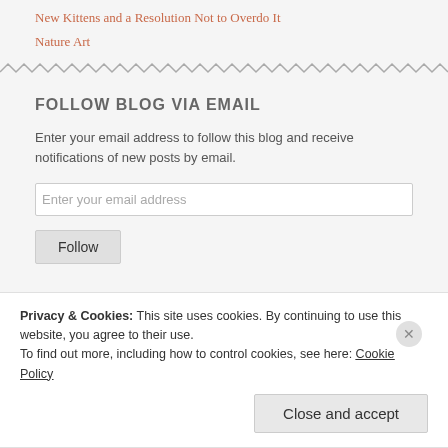New Kittens and a Resolution Not to Overdo It
Nature Art
FOLLOW BLOG VIA EMAIL
Enter your email address to follow this blog and receive notifications of new posts by email.
Privacy & Cookies: This site uses cookies. By continuing to use this website, you agree to their use.
To find out more, including how to control cookies, see here: Cookie Policy